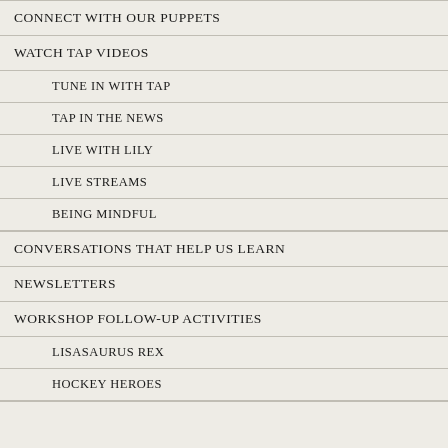CONNECT WITH OUR PUPPETS
WATCH TAP VIDEOS
TUNE IN WITH TAP
TAP IN THE NEWS
LIVE WITH LILY
LIVE STREAMS
BEING MINDFUL
CONVERSATIONS THAT HELP US LEARN
NEWSLETTERS
WORKSHOP FOLLOW-UP ACTIVITIES
LISASAURUS REX
HOCKEY HEROES